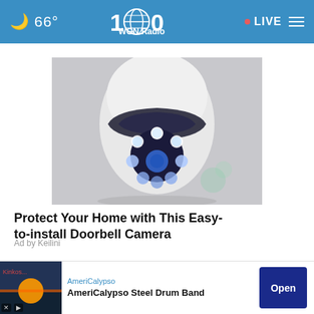🌙 66° | WGN Radio 100 | LIVE
[Figure (photo): A close-up photo of a white security camera with blue LED ring lights, egg-shaped, mounted from above against a gray background.]
Protect Your Home with This Easy-to-install Doorbell Camera
Ad by Keilini
AROUND THE WEB
[Figure (photo): AmeriCalypso Steel Drum Band advertisement banner with thumbnail image and Open button.]
AmeriCalypso
AmeriCalypso Steel Drum Band
Open